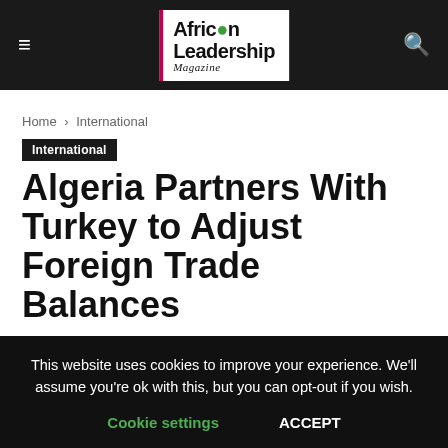African Leadership Magazine
Home › International
International
Algeria Partners With Turkey to Adjust Foreign Trade Balances
By Admin – 28/02/2018
This website uses cookies to improve your experience. We'll assume you're ok with this, but you can opt-out if you wish. Cookie settings ACCEPT